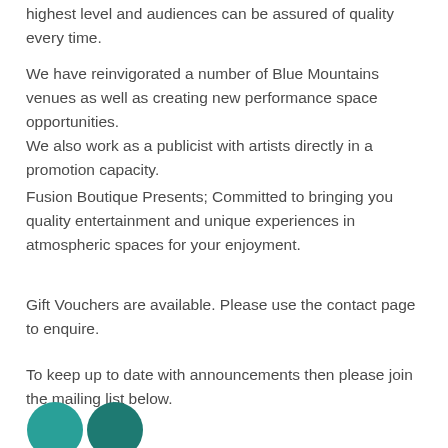highest level and audiences can be assured of quality every time.
We have reinvigorated a number of Blue Mountains venues as well as creating new performance space opportunities.
We also work as a publicist with artists directly in a promotion capacity.
Fusion Boutique Presents; Committed to bringing you quality entertainment and unique experiences in atmospheric spaces for your enjoyment.
Gift Vouchers are available. Please use the contact page to enquire.
To keep up to date with announcements then please join the mailing list below.
[Figure (illustration): Two teal/dark green circular social media or contact icon buttons at bottom left of page]